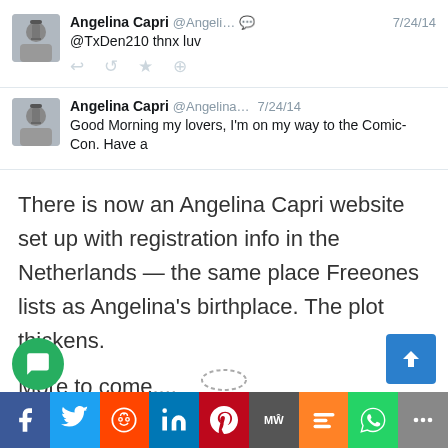[Figure (screenshot): Tweet by Angelina Capri @Angeli... on 7/24/14: @TxDen210 thnx luv]
[Figure (screenshot): Tweet by Angelina Capri @Angelina... on 7/24/14: Good Morning my lovers, I'm on my way to the Comic-Con. Have a]
There is now an Angelina Capri website set up with registration info in the Netherlands — the same place Freeones lists as Angelina's birthplace. The plot thickens.
More to come....
[Figure (infographic): Social sharing toolbar with Facebook, Twitter, Reddit, LinkedIn, Pinterest, MW, Mix, WhatsApp, and more share buttons]